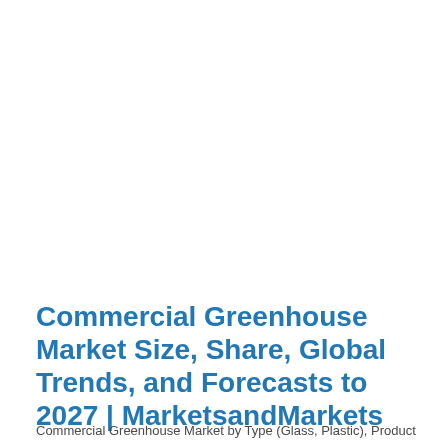Commercial Greenhouse Market Size, Share, Global Trends, and Forecasts to 2027 | MarketsandMarkets
Commercial Greenhouse Market by Type (Glass, Plastic), Product